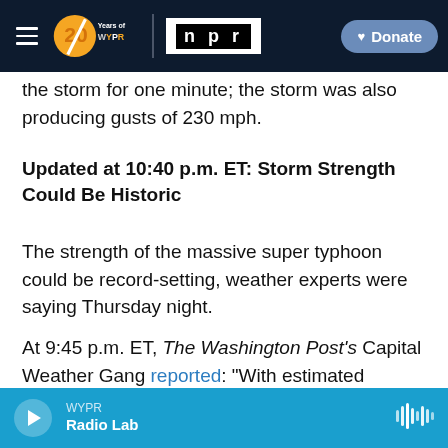[Figure (screenshot): WYPR 20 Years logo with NPR logo and Donate button on dark navy navigation bar]
the storm for one minute; the storm was also producing gusts of 230 mph.
Updated at 10:40 p.m. ET: Storm Strength Could Be Historic
The strength of the massive super typhoon could be record-setting, weather experts were saying Thursday night.
At 9:45 p.m. ET, The Washington Post's Capital Weather Gang reported: "With estimated maximum sustained winds of 195 mph, it is thought to be the strongest storm to ever make landfall anywhere in
[Figure (screenshot): WYPR radio player bar at bottom showing Radio Lab with play button and waveform icon]